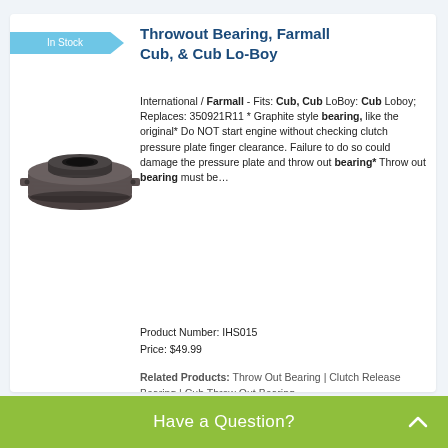In Stock
Throwout Bearing, Farmall Cub, & Cub Lo-Boy
[Figure (photo): A circular throwout bearing / clutch release bearing with a graphite face, dark metal housing with mounting ears, viewed from a slight angle.]
International / Farmall - Fits: Cub, Cub LoBoy: Cub Loboy; Replaces: 350921R11 * Graphite style bearing, like the original* Do NOT start engine without checking clutch pressure plate finger clearance. Failure to do so could damage the pressure plate and throw out bearing* Throw out bearing must be…
Product Number: IHS015
Price: $49.99
Related Products: Throw Out Bearing | Clutch Release Bearing | Cub Throw Out Bearing.
Have a Question?